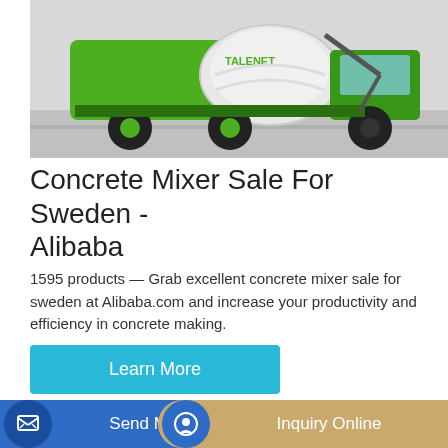[Figure (photo): Green TALENET concrete mixer truck on grey road background]
Concrete Mixer Sale For Sweden - Alibaba
1595 products — Grab excellent concrete mixer sale for sweden at Alibaba.com and increase your productivity and efficiency in concrete making.
[Figure (screenshot): Learn More button (cyan/teal) linking to product page]
[Figure (photo): Bottom product listing image showing small blue concrete mixers]
[Figure (screenshot): Send Message button bar (blue) and Inquiry Online button bar (tan/gold)]